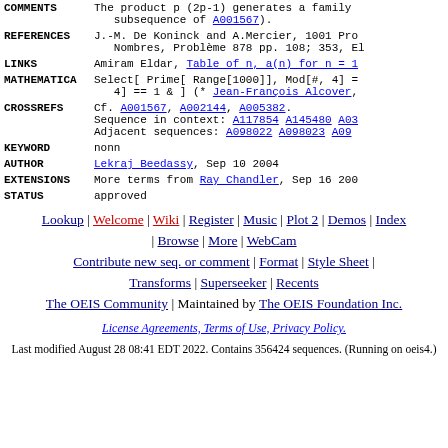| Field | Content |
| --- | --- |
| COMMENTS | The product p (2p-1) generates a family... subsequence of A001567). |
| REFERENCES | J.-M. De Koninck and A.Mercier, 1001 Pro... Nombres, Problème 878 pp. 108; 353, El |
| LINKS | Amiram Eldar, Table of n, a(n) for n = 1 |
| MATHEMATICA | Select[ Prime[ Range[1000]], Mod[#, 4] = 4] == 1 & ] (* Jean-François Alcover, |
| CROSSREFS | Cf. A001567, A002144, A005382.
Sequence in context: A117854 A145480 A03
Adjacent sequences: A098022 A098023 A09 |
| KEYWORD | nonn |
| AUTHOR | Lekraj Beedassy, Sep 10 2004 |
| EXTENSIONS | More terms from Ray Chandler, Sep 16 200 |
| STATUS | approved |
Lookup | Welcome | Wiki | Register | Music | Plot 2 | Demos | Index | Browse | More | WebCam | Contribute new seq. or comment | Format | Style Sheet | Transforms | Superseeker | Recents | The OEIS Community | Maintained by The OEIS Foundation Inc.
License Agreements, Terms of Use, Privacy Policy.
Last modified August 28 08:41 EDT 2022. Contains 356424 sequences. (Running on oeis4.)